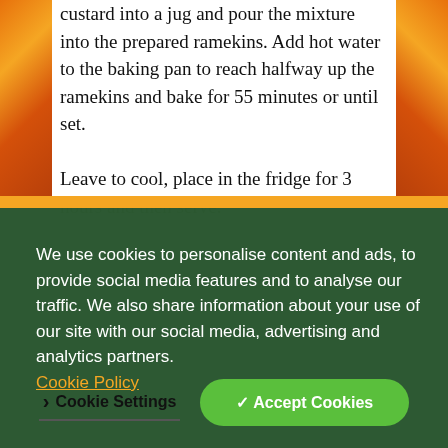custard into a jug and pour the mixture into the prepared ramekins. Add hot water to the baking pan to reach halfway up the ramekins and bake for 55 minutes or until set.

Leave to cool, place in the fridge for 3 hours and then serve.
We use cookies to personalise content and ads, to provide social media features and to analyse our traffic. We also share information about your use of our site with our social media, advertising and analytics partners. Cookie Policy
Cookie Settings
✓ Accept Cookies